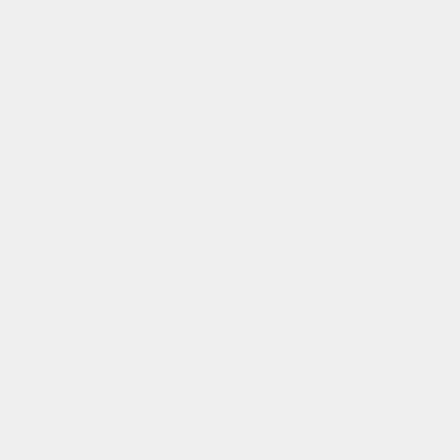,e.g.runningtestprogra
,e.g.runningtestprogra